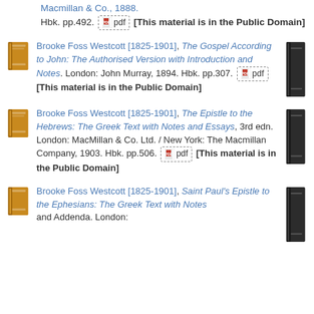Macmillan & Co., 1888. Hbk. pp.492. [pdf] [This material is in the Public Domain]
Brooke Foss Westcott [1825-1901], The Gospel According to John: The Authorised Version with Introduction and Notes. London: John Murray, 1894. Hbk. pp.307. [pdf] [This material is in the Public Domain]
Brooke Foss Westcott [1825-1901], The Epistle to the Hebrews: The Greek Text with Notes and Essays, 3rd edn. London: MacMillan & Co. Ltd. / New York: The Macmillan Company, 1903. Hbk. pp.506. [pdf] [This material is in the Public Domain]
Brooke Foss Westcott [1825-1901], Saint Paul's Epistle to the Ephesians: The Greek Text with Notes and Addenda. London: